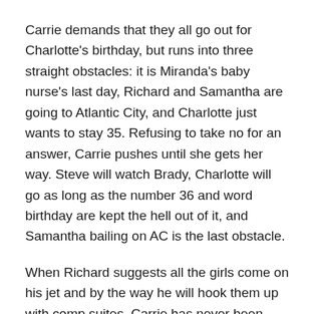Carrie demands that they all go out for Charlotte's birthday, but runs into three straight obstacles: it is Miranda's baby nurse's last day, Richard and Samantha are going to Atlantic City, and Charlotte just wants to stay 35. Refusing to take no for an answer, Carrie pushes until she gets her way. Steve will watch Brady, Charlotte will go as long as the number 36 and word birthday are kept the hell out of it, and Samantha bailing on AC is the last obstacle.
When Richard suggests all the girls come on his jet and by the way he will hook them up with comp suites, Carrie has never been more all in and agrees before clearing it with everyone else.